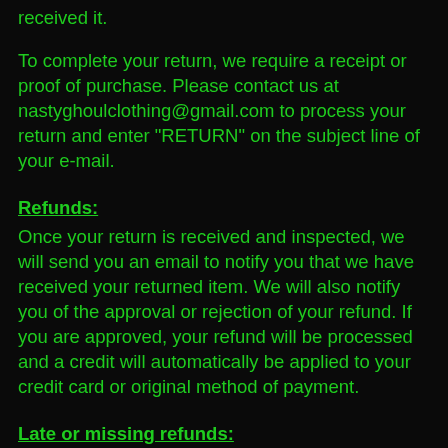received it.
To complete your return, we require a receipt or proof of purchase. Please contact us at nastyghoulclothing@gmail.com to process your return and enter "RETURN" on the subject line of your e-mail.
Refunds:
Once your return is received and inspected, we will send you an email to notify you that we have received your returned item. We will also notify you of the approval or rejection of your refund. If you are approved, your refund will be processed and a credit will automatically be applied to your credit card or original method of payment.
Late or missing refunds:
If you haven't received a refund yet, please check your bank account statement. Refunds may take up to 7 business days to get processed and show up on your original form of payment. If after 7 business days you still have not received your refund